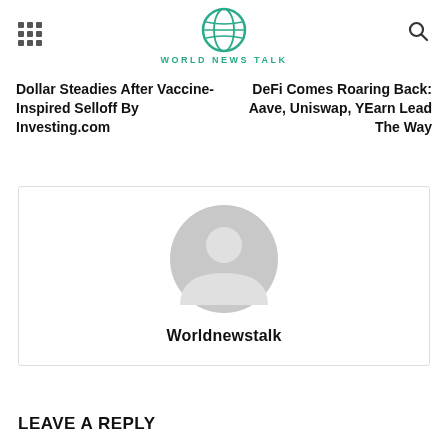WORLD NEWS TALK
Dollar Steadies After Vaccine-Inspired Selloff By Investing.com
DeFi Comes Roaring Back: Aave, Uniswap, YEarn Lead The Way
[Figure (other): User avatar placeholder icon — grey circle with white person silhouette, labeled Worldnewstalk]
LEAVE A REPLY